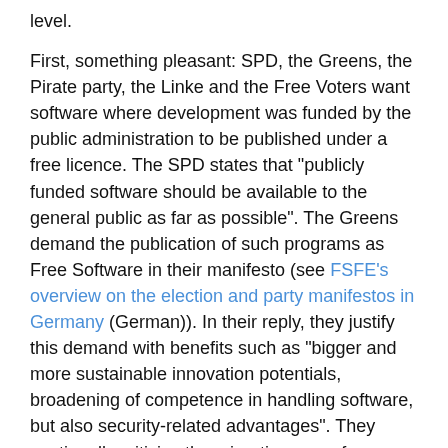level.
First, something pleasant: SPD, the Greens, the Pirate party, the Linke and the Free Voters want software where development was funded by the public administration to be published under a free licence. The SPD states that "publicly funded software should be available to the general public as far as possible". The Greens demand the publication of such programs as Free Software in their manifesto (see FSFE's overview on the election and party manifestos in Germany (German)). In their reply, they justify this demand with benefits such as "bigger and more sustainable innovation potentials, broadening of competence in handling software, but also security-related advantages". They continually criticise the migration away from Free Software in the Foreign Office. The Pirates and the Left Party both advocate a general publication of all software and content funded by the state. The FDP does not directly address the question, but generally claims to "consider both proprietary and Free software" in public procurement.